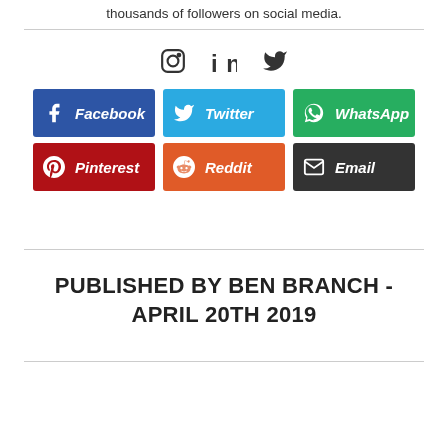thousands of followers on social media.
[Figure (infographic): Social media icons: Instagram, LinkedIn, Twitter]
[Figure (infographic): Share buttons: Facebook, Twitter, WhatsApp, Pinterest, Reddit, Email]
PUBLISHED BY BEN BRANCH - APRIL 20TH 2019